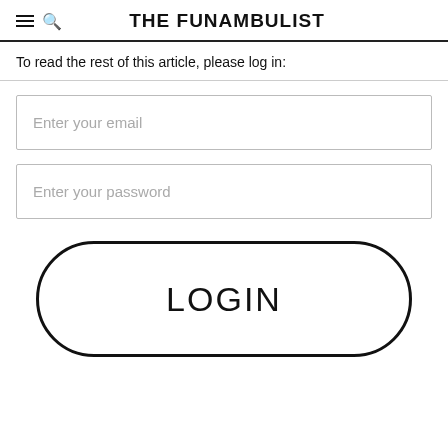THE FUNAMBULIST
To read the rest of this article, please log in:
[Figure (screenshot): Login form with email and password input fields and a LOGIN button]
LOGIN